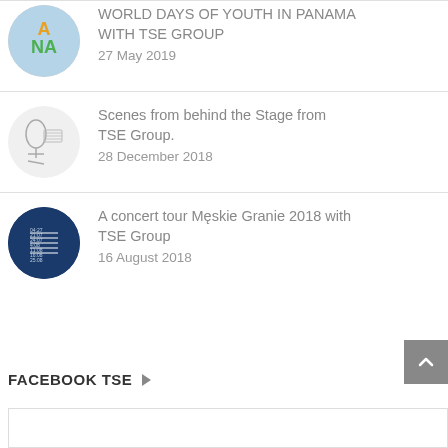WORLD DAYS OF YOUTH IN PANAMA WITH TSE GROUP
27 May 2019
Scenes from behind the Stage from TSE Group.
28 December 2018
A concert tour Męskie Granie 2018 with TSE Group
16 August 2018
FACEBOOK TSE
[Figure (other): Empty Facebook embed box placeholder]